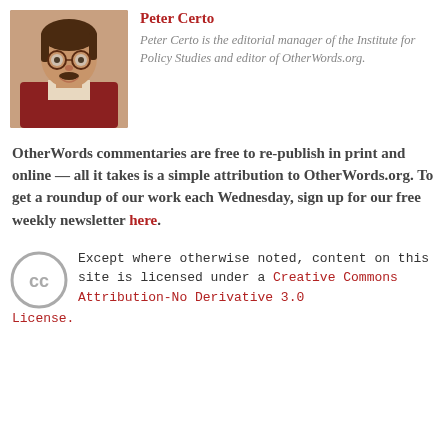[Figure (photo): Headshot photo of Peter Certo, a man with dark hair and mustache wearing glasses and a red/maroon jacket, smiling.]
Peter Certo
Peter Certo is the editorial manager of the Institute for Policy Studies and editor of OtherWords.org.
OtherWords commentaries are free to re-publish in print and online — all it takes is a simple attribution to OtherWords.org. To get a roundup of our work each Wednesday, sign up for our free weekly newsletter here.
[Figure (logo): Creative Commons CC logo circle]
Except where otherwise noted, content on this site is licensed under a Creative Commons Attribution-No Derivative 3.0 License.